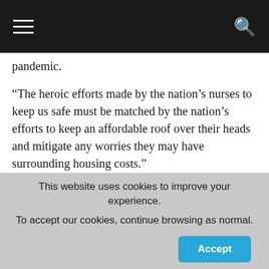navigation header with hamburger menu and search icon
pandemic.
“The heroic efforts made by the nation’s nurses to keep us safe must be matched by the nation’s efforts to keep an affordable roof over their heads and mitigate any worries they may have surrounding housing costs.”
Read one one landlord who recently offered NHS staff free accommodation.
This website uses cookies to improve your experience. To accept our cookies, continue browsing as normal.